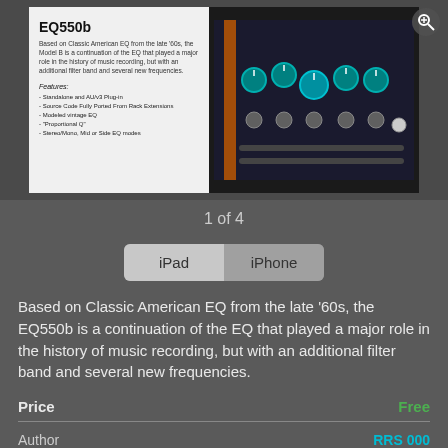[Figure (screenshot): App store listing screenshot showing EQ550b audio plugin interface on an iPad, with description text and features list visible]
1 of 4
iPad | iPhone
Based on Classic American EQ from the late '60s, the EQ550b is a continuation of the EQ that played a major role in the history of music recording, but with an additional filter band and several new frequencies.
| Price | Free |
| --- | --- |
Author